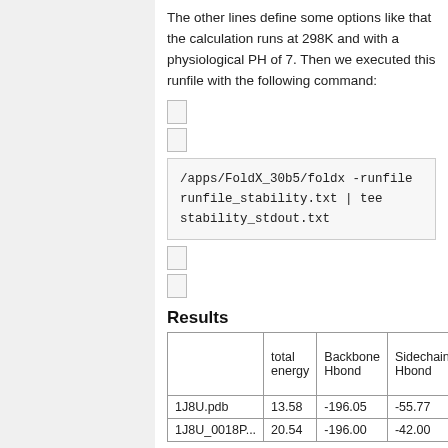The other lines define some options like that the calculation runs at 298K and with a physiological PH of 7. Then we executed this runfile with the following command:
[Figure (other): Small icon/placeholder box 1]
[Figure (other): Small icon/placeholder box 2]
/apps/FoldX_30b5/foldx -runfile runfile_stability.txt | tee stability_stdout.txt
[Figure (other): Small icon/placeholder box 3]
[Figure (other): Small icon/placeholder box 4]
Results
|  | total energy | Backbone Hbond | Sidechain Hbond |
| --- | --- | --- | --- |
| 1J8U.pdb | 13.58 | -196.05 | -55.77 |
| 1J8U_0018P... | 20.54 | -196.00 | -42.00 |